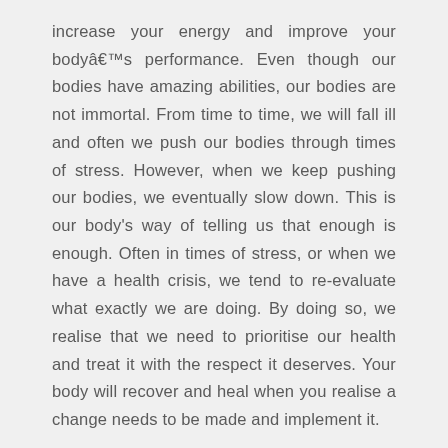increase your energy and improve your bodyâ€™s performance. Even though our bodies have amazing abilities, our bodies are not immortal. From time to time, we will fall ill and often we push our bodies through times of stress. However, when we keep pushing our bodies, we eventually slow down. This is our body's way of telling us that enough is enough. Often in times of stress, or when we have a health crisis, we tend to re-evaluate what exactly we are doing. By doing so, we realise that we need to prioritise our health and treat it with the respect it deserves. Your body will recover and heal when you realise a change needs to be made and implement it.
At Kush Health, we combine our clinical skills to empower you to reach your full health potential. With years of experience and expertise, we provide second to none naturopathy, holistic counselling, meditation as well as skin care and yoga testing. All our organic skin care